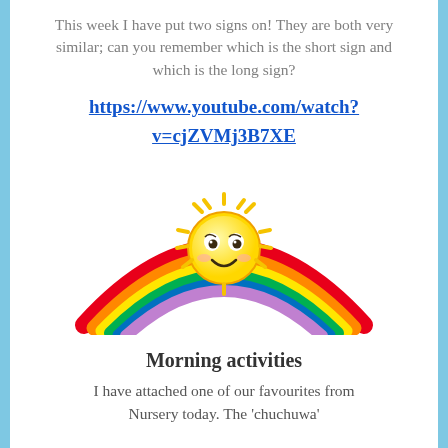This week I have put two signs on! They are both very similar; can you remember which is the short sign and which is the long sign?
https://www.youtube.com/watch?v=cjZVMj3B7XE
[Figure (illustration): A cartoon sunshine with a smiley face sitting over a colourful rainbow arc with red, orange, yellow, green, blue, and purple stripes.]
Morning activities
I have attached one of our favourites from Nursery today. The 'chuchuwa'